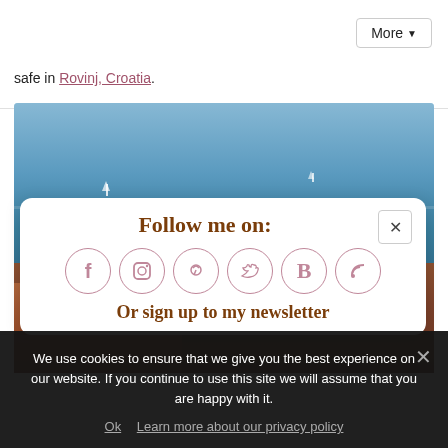safe in Rovinj, Croatia.
[Figure (photo): Aerial view of Rovinj, Croatia showing the blue sea with sailboats, the church steeple/tower on the right, and terracotta rooftops in the foreground]
Follow me on:
[Figure (infographic): Social media icons in pink circles: Facebook (f), Instagram, Pinterest, Twitter, Bloglovin (B), RSS feed]
Or sign up to my newsletter
We use cookies to ensure that we give you the best experience on our website. If you continue to use this site we will assume that you are happy with it.
Ok  Learn more about our privacy policy